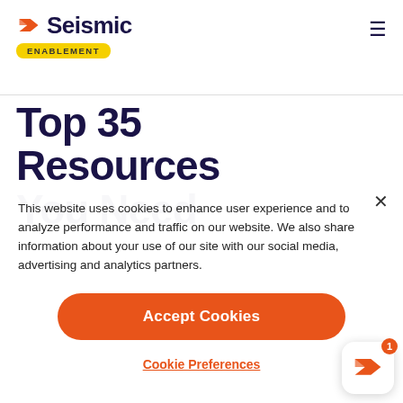Seismic — ENABLEMENT
Top 35 Resources You Need
This website uses cookies to enhance user experience and to analyze performance and traffic on our website. We also share information about your use of our site with our social media, advertising and analytics partners.
Accept Cookies
Cookie Preferences